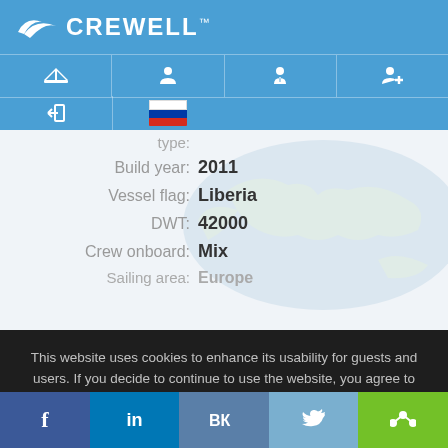[Figure (screenshot): Crewell website header with logo, navigation icons, and Russian flag language selector]
Type: [truncated]
Build year: 2011
Vessel flag: Liberia
DWT: 42000
Crew onboard: Mix
Sailing area: Europe
This website uses cookies to enhance its usability for guests and users. If you decide to continue to use the website, you agree to the Cookies Policy
I agree
[Figure (screenshot): Social media share bar with Facebook, LinkedIn, VK, Twitter, and share button]